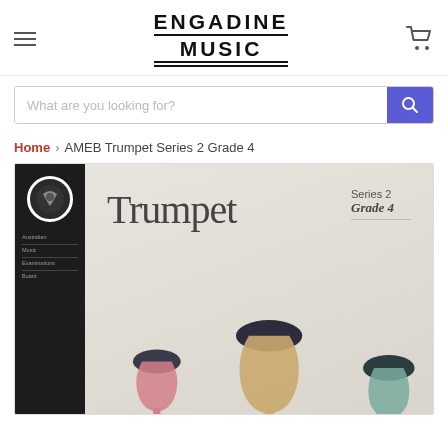[Figure (logo): Engadine Music store logo with hamburger menu icon on left and shopping cart icon on right]
[Figure (other): Search bar with placeholder text 'What are you looking for?' and blue search button with magnifying glass icon]
Home > AMEB Trumpet Series 2 Grade 4
[Figure (photo): AMEB Trumpet Series 2 Grade 4 book cover showing stylized trumpet illustrations in pink, gold and teal colors on a light grey background, with the Australian Music Examinations Board logo on a black spine]